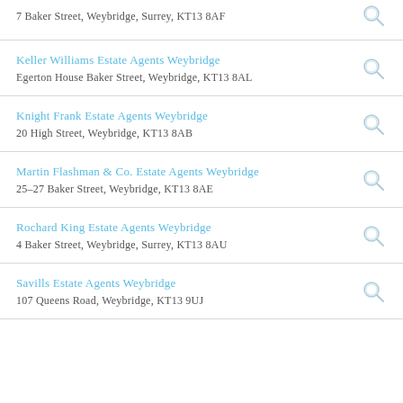7 Baker Street, Weybridge, Surrey, KT13 8AF
Keller Williams Estate Agents Weybridge
Egerton House Baker Street, Weybridge, KT13 8AL
Knight Frank Estate Agents Weybridge
20 High Street, Weybridge, KT13 8AB
Martin Flashman & Co. Estate Agents Weybridge
25–27 Baker Street, Weybridge, KT13 8AE
Rochard King Estate Agents Weybridge
4 Baker Street, Weybridge, Surrey, KT13 8AU
Savills Estate Agents Weybridge
107 Queens Road, Weybridge, KT13 9UJ